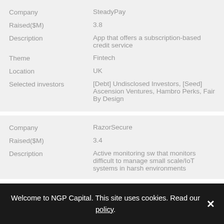| Field | Value |
| --- | --- |
| Company | SteadyPay |
| Raised($M) | 3.8 |
| Description | App that offers a subscription-based credit service |
| Theme | Fintech |
| Location | UK |
| Selected investors | [Debt] Undisclosed Investors, [Seed] Ascension Ventures, Hambro Perks, Fair By Design |
| Field | Value |
| --- | --- |
| Company | RazorSecure |
| Raised($M) | 3.4 |
| Description | Active monitoring sw that monitors difficult to manage small scale/IoT systems in harsh environments |
Welcome to NGP Capital. This site uses cookies. Read our policy.